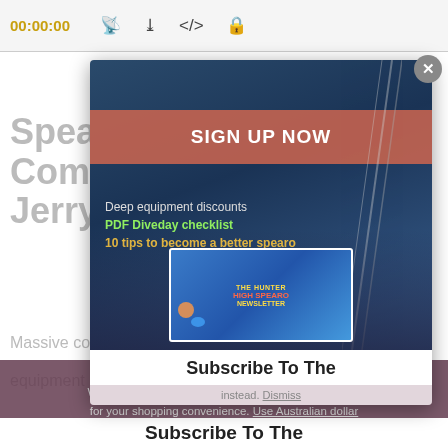00:00:00
Spearfishing Equipment Community Q&A with Jerry Guerra
Massive community generated spearfishing
equipment chat with Neptonics Madman
[Figure (screenshot): Modal popup overlay with sign-up offer on a spearfishing website. Contains 'SIGN UP NOW' coral banner, benefits list including 'Deep equipment discounts', 'PDF Diveday checklist' in green, '10 tips to become a better spearo' in yellow, and a newsletter book mockup image at the bottom showing 'THE HUNTER HIGH SPEARO NEWSLETTER'.]
We noticed you're visiting from United States (US). We've updated our prices to United States (US) dollar for your shopping convenience. Use Australian dollar instead. Dismiss
Subscribe To The